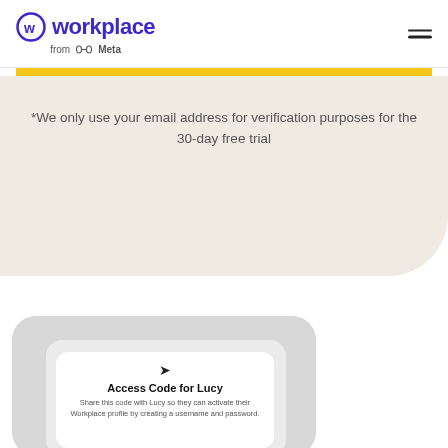[Figure (logo): Workplace from Meta logo with circular W icon in indigo/purple, and 'from ∞ Meta' tagline below]
*We only use your email address for verification purposes for the 30-day free trial
[Figure (screenshot): Mobile card UI showing 'Access Code for Lucy' with share icon and description text: 'Share this code with Lucy so they can activate their Workplace profile by creating a username and password.']